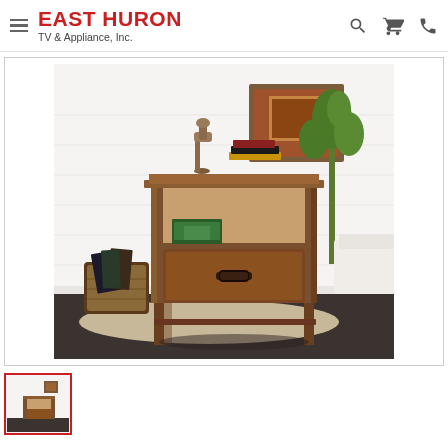EAST HURON TV & Appliance, Inc.
[Figure (photo): Product photo of a dark brown wooden end table with one open shelf and one drawer with a black metal pull handle, displayed in a living room setting with decorative items on top including a horse figurine and stacked books, with a basket and plant in the background]
[Figure (photo): Thumbnail image of the same dark brown wooden end table product]